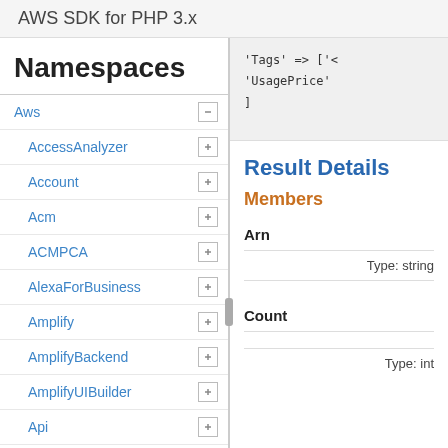AWS SDK for PHP 3.x
Namespaces
Aws
AccessAnalyzer
Account
Acm
ACMPCA
AlexaForBusiness
Amplify
AmplifyBackend
AmplifyUIBuilder
Api
ApiGateway
ApiGatewayManagementApi
'Tags' => ['<
'UsagePrice'
]
Result Details
Members
Arn
Type: string
Count
Type: int